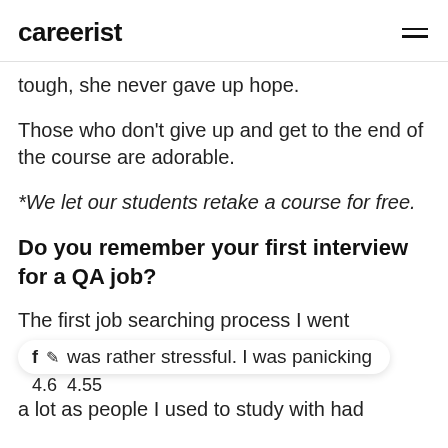careerist
tough, she never gave up hope.
Those who don't give up and get to the end of the course are adorable.
*We let our students retake a course for free.
Do you remember your first interview for a QA job?
The first job searching process I went was rather stressful. I was panicking a lot as people I used to study with had
4.6  4.55